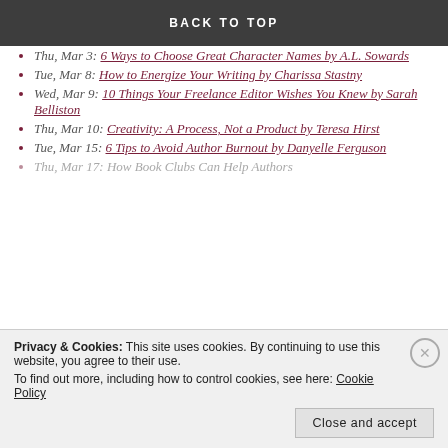BACK TO TOP
Tue, Mar 1: Playing Fair: Good Guys vs. Bad Guys by Rebecca Belliston
Wed, Mar 2: How to Self-Edit Your Work by J.J. Lyon
Thu, Mar 3: 6 Ways to Choose Great Character Names by A.L. Sowards
Tue, Mar 8: How to Energize Your Writing by Charissa Stastny
Wed, Mar 9: 10 Things Your Freelance Editor Wishes You Knew by Sarah Belliston
Thu, Mar 10: Creativity: A Process, Not a Product by Teresa Hirst
Tue, Mar 15: 6 Tips to Avoid Author Burnout by Danyelle Ferguson
Thu, Mar 17: How Book Clubs Can Help Authors
Privacy & Cookies: This site uses cookies. By continuing to use this website, you agree to their use. To find out more, including how to control cookies, see here: Cookie Policy
Close and accept